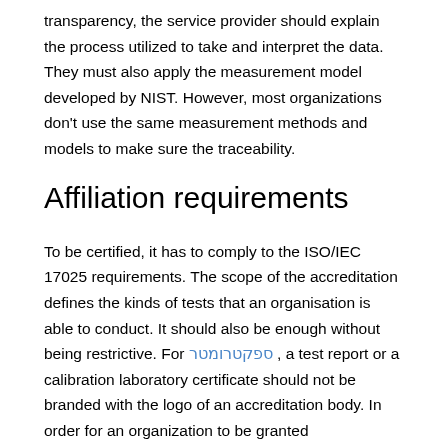transparency, the service provider should explain the process utilized to take and interpret the data. They must also apply the measurement model developed by NIST. However, most organizations don't use the same measurement methods and models to make sure the traceability.
Affiliation requirements
To be certified, it has to comply to the ISO/IEC 17025 requirements. The scope of the accreditation defines the kinds of tests that an organisation is able to conduct. It should also be enough without being restrictive. For ספקטרומטר , a test report or a calibration laboratory certificate should not be branded with the logo of an accreditation body. In order for an organization to be granted accreditation, it is required to accept all the recommendations of the group of assessors.